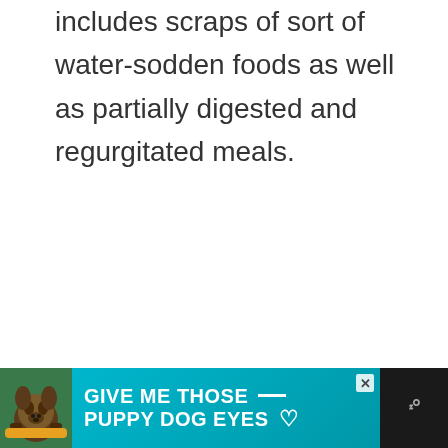includes scraps of sort of water-sodden foods as well as partially digested and regurgitated meals.
[Figure (other): Advertisement banner at the bottom of the page with dark background. Shows a teal/cyan colored ad with a dog image on the left and text 'GIVE ME THOSE PUPPY DOG EYES' with a heart icon. A close button (x) is visible. A logo with 'W' and degree symbol appears on the right side on the dark background.]